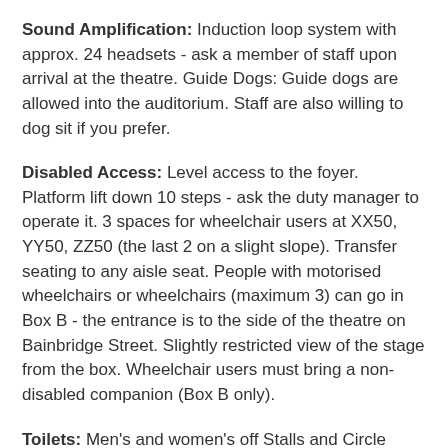Sound Amplification: Induction loop system with approx. 24 headsets - ask a member of staff upon arrival at the theatre. Guide Dogs: Guide dogs are allowed into the auditorium. Staff are also willing to dog sit if you prefer.
Disabled Access: Level access to the foyer. Platform lift down 10 steps - ask the duty manager to operate it. 3 spaces for wheelchair users at XX50, YY50, ZZ50 (the last 2 on a slight slope). Transfer seating to any aisle seat. People with motorised wheelchairs or wheelchairs (maximum 3) can go in Box B - the entrance is to the side of the theatre on Bainbridge Street. Slightly restricted view of the stage from the box. Wheelchair users must bring a non-disabled companion (Box B only).
Toilets: Men's and women's off Stalls and Circle
Disabled Toilets: Adapted toilet towards front left of Stalls and one adjacent to Box B